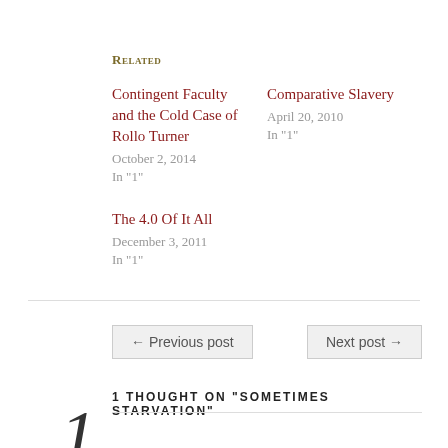Related
Contingent Faculty and the Cold Case of Rollo Turner
October 2, 2014
In "1"
Comparative Slavery
April 20, 2010
In "1"
The 4.0 Of It All
December 3, 2011
In "1"
← Previous post
Next post →
1 THOUGHT ON "SOMETIMES STARVATION"